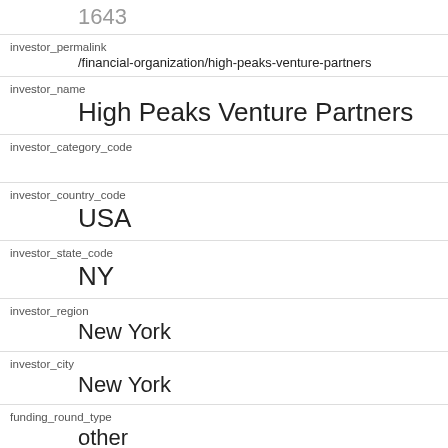| field | value |
| --- | --- |
|  | 1643 |
| investor_permalink | /financial-organization/high-peaks-venture-partners |
| investor_name | High Peaks Venture Partners |
| investor_category_code |  |
| investor_country_code | USA |
| investor_state_code | NY |
| investor_region | New York |
| investor_city | New York |
| funding_round_type | other |
| funded_at | 1341792000 |
| funded_year |  |